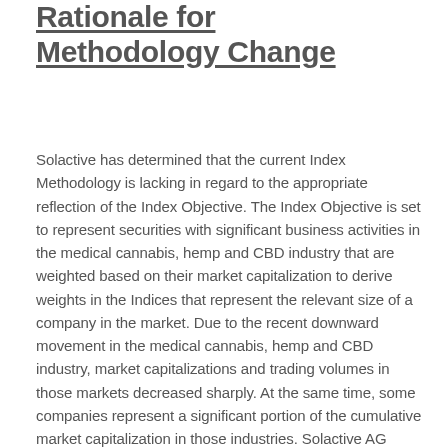Rationale for Methodology Change
Solactive has determined that the current Index Methodology is lacking in regard to the appropriate reflection of the Index Objective. The Index Objective is set to represent securities with significant business activities in the medical cannabis, hemp and CBD industry that are weighted based on their market capitalization to derive weights in the Indices that represent the relevant size of a company in the market. Due to the recent downward movement in the medical cannabis, hemp and CBD industry, market capitalizations and trading volumes in those markets decreased sharply. At the same time, some companies represent a significant portion of the cumulative market capitalization in those industries. Solactive AG decided to decrease the minimum market capitalization and average daily trading volume to better reflect the new market conditions. In the same vein, Solactive AG decided to apply the composite average daily trading volume over the whole North American market as securities from the